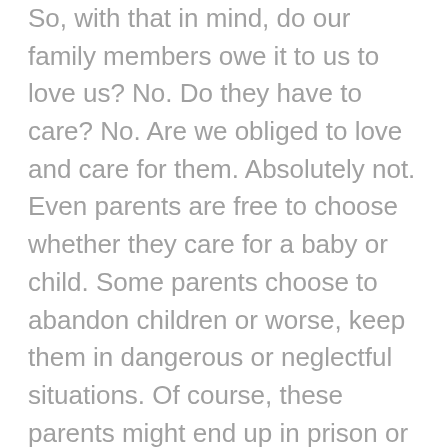So, with that in mind, do our family members owe it to us to love us? No. Do they have to care? No. Are we obliged to love and care for them. Absolutely not. Even parents are free to choose whether they care for a baby or child. Some parents choose to abandon children or worse, keep them in dangerous or neglectful situations. Of course, these parents might end up in prison or face other harsh consequences, but they can still do it. And some do.
So why make these “dark” assertions? Because it’s one of the keys to personal well-being. By liberating ourselves from assumptions and expectations about what our family “owes” us or what we owe to our family, we are in a far stronger